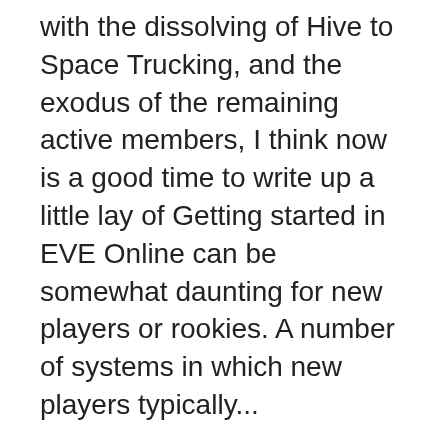with the dissolving of Hive to Space Trucking, and the exodus of the remaining active members, I think now is a good time to write up a little lay of Getting started in EVE Online can be somewhat daunting for new players or rookies. A number of systems in which new players typically...
2015-01-31 · Suitonia's new player Kestral guide. Suitonia's videos at EVE is Easy have been some of the best PVP video guides available since he started updating EVE Online New Player Free to Play Guide-YouTube Retrieved from "http://eve.wikia.com/wiki/Guides:Character_Creation?oldid=18722" Categories: Player ...